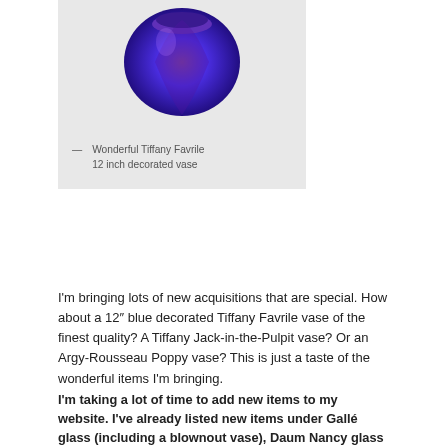[Figure (photo): Purple and blue decorated Tiffany Favrile vase on a light gray background]
— Wonderful Tiffany Favrile 12 inch decorated vase
I'm bringing lots of new acquisitions that are special. How about a 12″ blue decorated Tiffany Favrile vase of the finest quality? A Tiffany Jack-in-the-Pulpit vase? Or an Argy-Rousseau Poppy vase? This is just a taste of the wonderful items I'm bringing.
I'm taking a lot of time to add new items to my website. I've already listed new items under Gallé glass (including a blownout vase), Daum Nancy glass and Tiffany Studios glass. Soon I'll be adding pottery by Newcomb College, Marblehead and Rookwood. Please take a look, as every day I'm adding more. Click on this link chasenantiques.com.